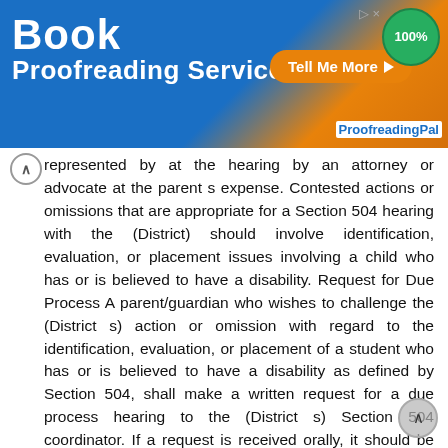[Figure (illustration): Advertisement banner for Book Proofreading Service with blue and orange gradient background, 'Tell Me More' button, 100% green badge, and ProofreadingPal branding.]
represented by at the hearing by an attorney or advocate at the parent s expense. Contested actions or omissions that are appropriate for a Section 504 hearing with the (District) should involve identification, evaluation, or placement issues involving a child who has or is believed to have a disability. Request for Due Process A parent/guardian who wishes to challenge the (District s) action or omission with regard to the identification, evaluation, or placement of a student who has or is believed to have a disability as defined by Section 504, shall make a written request for a due process hearing to the (District s) Section 504 coordinator. If a request is received orally, it should be reduced to writing or the parent/guardian should be provided a form to reduce the request to writing. The written request must make clear that the parent is seeking a due process hearing under Section 504 before an impartial Section 504 hearing officer. The written request must be made on a form provided by the (District) for that purpose. If the intent to seek a due